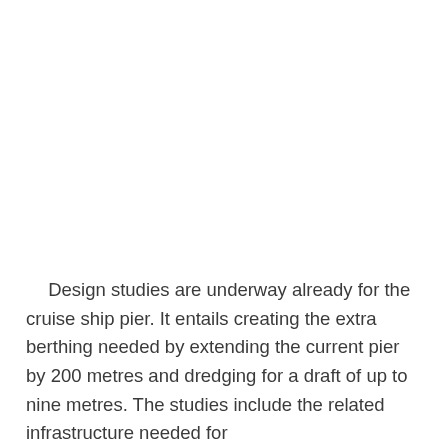Design studies are underway already for the cruise ship pier. It entails creating the extra berthing needed by extending the current pier by 200 metres and dredging for a draft of up to nine metres. The studies include the related infrastructure needed for